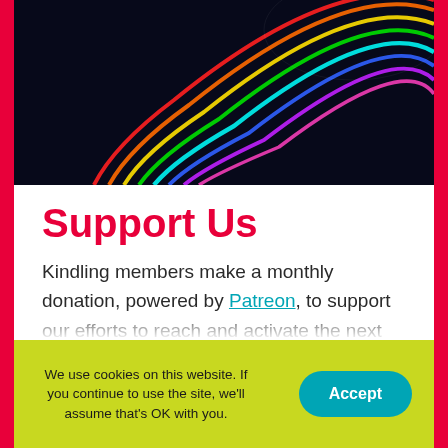[Figure (photo): Dark background with colorful neon rainbow arc light streaks in red, orange, yellow, green, cyan, blue, and purple, curving from upper right.]
Support Us
Kindling members make a monthly donation, powered by Patreon, to support our efforts to reach and activate the next generation of changemakers.
We use cookies on this website. If you continue to use the site, we'll assume that's OK with you.